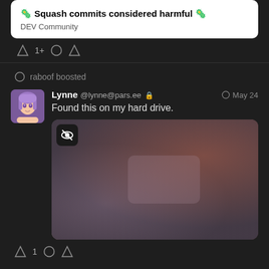🦠 Squash commits considered harmful 🦠
DEV Community
◇ 1+  ○  △
raboof boosted
Lynne @lynne@pars.ee 🔒  May 24
Found this on my hard drive.
[Figure (photo): Blurred/obscured image with a dark background and reddish-brown tones, with a small dark icon overlay in the top-left corner showing a stylized logo.]
◇ 1  ○  △